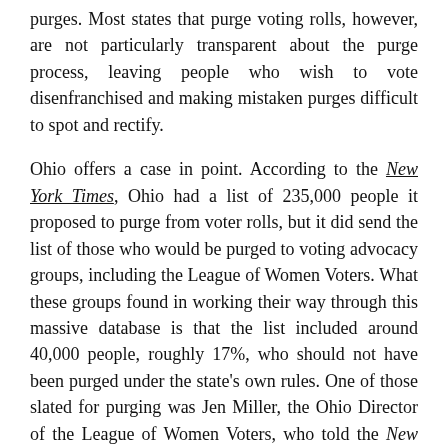purges. Most states that purge voting rolls, however, are not particularly transparent about the purge process, leaving people who wish to vote disenfranchised and making mistaken purges difficult to spot and rectify.
Ohio offers a case in point. According to the New York Times, Ohio had a list of 235,000 people it proposed to purge from voter rolls, but it did send the list of those who would be purged to voting advocacy groups, including the League of Women Voters. What these groups found in working their way through this massive database is that the list included around 40,000 people, roughly 17%, who should not have been purged under the state's own rules. One of those slated for purging was Jen Miller, the Ohio Director of the League of Women Voters, who told the New York Times, "I voted three times last year. I don't like to think how many other individuals this has happened to." S-HP